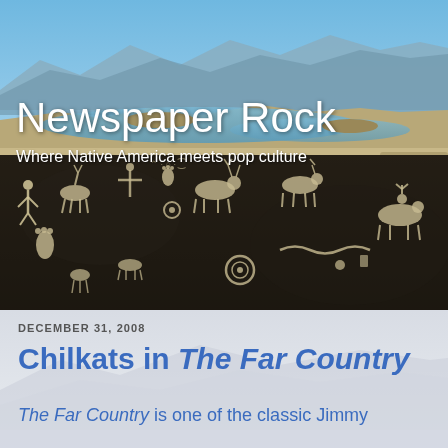[Figure (photo): Header banner with two photos: top is a desert landscape with a lake and mountains under a blue sky; bottom is a close-up of a dark petroglyph rock covered in ancient Native American carvings of animals and human figures.]
Newspaper Rock
Where Native America meets pop culture
[Figure (photo): Faded desert/mountain landscape background behind article content area.]
DECEMBER 31, 2008
Chilkats in The Far Country
The Far Country is one of the classic Jimmy